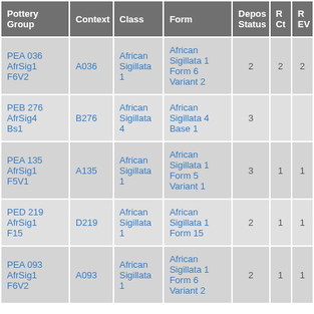| Pottery Group | Context | Class | Form | Depos Status | R Ct | R EV |
| --- | --- | --- | --- | --- | --- | --- |
| PEA 036 AfrSig1 F6V2 | A036 | African Sigillata 1 | African Sigillata 1 Form 6 Variant 2 | 2 | 2 | 2 |
| PEB 276 AfrSig4 Bs1 | B276 | African Sigillata 4 | African Sigillata 4 Base 1 | 3 |  |  |
| PEA 135 AfrSig1 F5V1 | A135 | African Sigillata 1 | African Sigillata 1 Form 5 Variant 1 | 3 | 1 | 1 |
| PED 219 AfrSig1 F15 | D219 | African Sigillata 1 | African Sigillata 1 Form 15 | 2 | 1 | 1 |
| PEA 093 AfrSig1 F6V2 | A093 | African Sigillata 1 | African Sigillata 1 Form 6 Variant 2 | 2 | 1 | 1 |